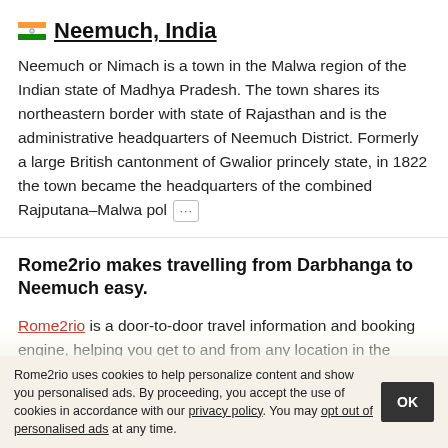🇮🇳 Neemuch, India
Neemuch or Nimach is a town in the Malwa region of the Indian state of Madhya Pradesh. The town shares its northeastern border with state of Rajasthan and is the administrative headquarters of Neemuch District. Formerly a large British cantonment of Gwalior princely state, in 1822 the town became the headquarters of the combined Rajputana–Malwa pol …
Rome2rio makes travelling from Darbhanga to Neemuch easy.
Rome2rio is a door-to-door travel information and booking engine, helping you get to and from any location in the world. Find all the transport options for your trip from Darbhanga to Neemuch right here. Rome2rio displays up
Rome2rio uses cookies to help personalize content and show you personalised ads. By proceeding, you accept the use of cookies in accordance with our privacy policy. You may opt out of personalised ads at any time.